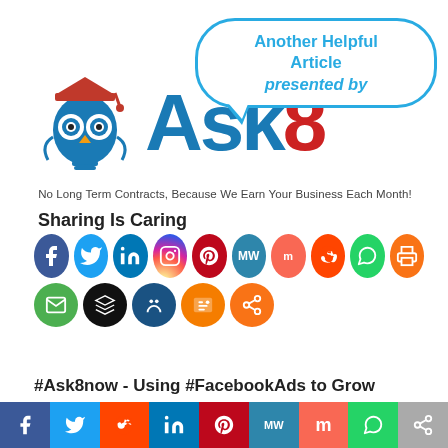[Figure (logo): Ask8 logo with owl mascot wearing graduation cap, speech bubble saying 'Another Helpful Article presented by', and the text 'Ask8' with tagline 'No Long Term Contracts, Because We Earn Your Business Each Month!']
Sharing Is Caring
[Figure (infographic): Row of social media sharing icons: Facebook, Twitter, LinkedIn, Instagram, Pinterest, MindWave, Mix, Reddit, WhatsApp, Print, Email, Buffer, MeWe, Blogger, Share]
#Ask8now - Using #FacebookAds to Grow
[Figure (infographic): Bottom social sharing bar with Facebook, Twitter, Reddit, LinkedIn, Pinterest, MindWave, Mix, WhatsApp, Share icons]